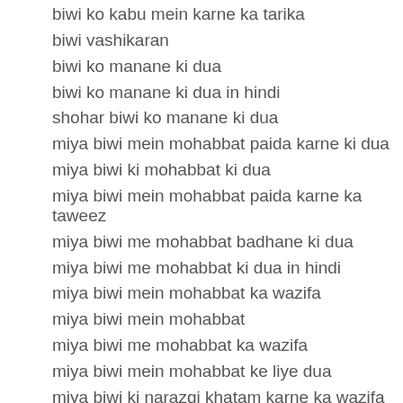biwi ko kabu mein karne ka tarika
biwi vashikaran
biwi ko manane ki dua
biwi ko manane ki dua in hindi
shohar biwi ko manane ki dua
miya biwi mein mohabbat paida karne ki dua
miya biwi ki mohabbat ki dua
miya biwi mein mohabbat paida karne ka taweez
miya biwi me mohabbat badhane ki dua
miya biwi me mohabbat ki dua in hindi
miya biwi mein mohabbat ka wazifa
miya biwi mein mohabbat
miya biwi me mohabbat ka wazifa
miya biwi mein mohabbat ke liye dua
miya biwi ki narazgi khatam karne ka wazifa
miya biwi ki narazgi
miya biwi ki narazgi dur karne ka wazifa
miya biwi ki narazgi ka wazifa
miya biwi ki narazgi ka wazifa